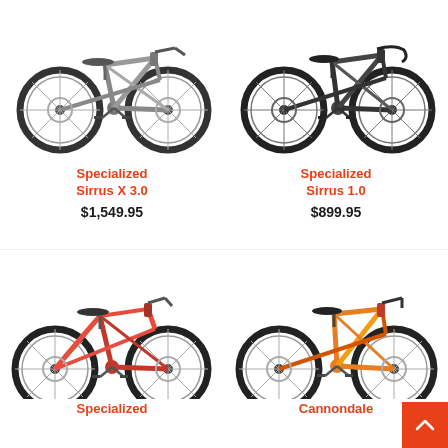[Figure (photo): Specialized Sirrus X 3.0 bicycle photo - gray/silver hybrid bike, top-left]
Specialized
Sirrus X 3.0
$1,549.95
[Figure (photo): Specialized Sirrus 1.0 bicycle photo - dark/black hybrid bike, top-right]
Specialized
Sirrus 1.0
$899.95
[Figure (photo): Specialized bicycle photo - red step-through hybrid bike, bottom-left]
Specialized
[Figure (photo): Cannondale bicycle photo - orange hybrid/flat bar bike, bottom-right]
Cannondale